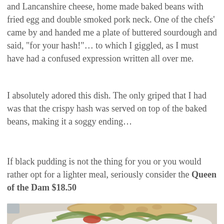and Lancanshire cheese, home made baked beans with fried egg and double smoked pork neck. One of the chefs' came by and handed me a plate of buttered sourdough and said, “for your hash!”… to which I giggled, as I must have had a confused expression written all over me.
I absolutely adored this dish. The only griped that I had was that the crispy hash was served on top of the baked beans, making it a soggy ending…
If black pudding is not the thing for you or you would rather opt for a lighter meal, seriously consider the Queen of the Dam $18.50
[Figure (photo): Photo of a sandwich on a white plate, showing wholegrain bread with salad greens, tomato, and other fillings visible from the side angle]